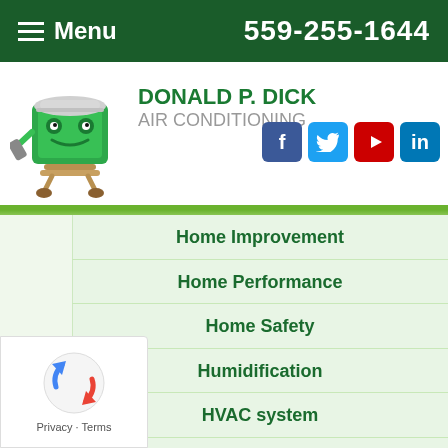Menu  559-255-1644
[Figure (logo): Donald P. Dick Air Conditioning mascot logo — animated green box character with hard hat and wrench]
DONALD P. DICK AIR CONDITIONING
[Figure (other): Social media icons: Facebook, Twitter, YouTube, LinkedIn]
Home Improvement
Home Performance
Home Safety
Humidification
HVAC system
IAQ – Indoor Air Quality
Indoor Air Quality
Insulation
Landscaping
[Figure (other): reCAPTCHA Privacy badge with Privacy and Terms links]